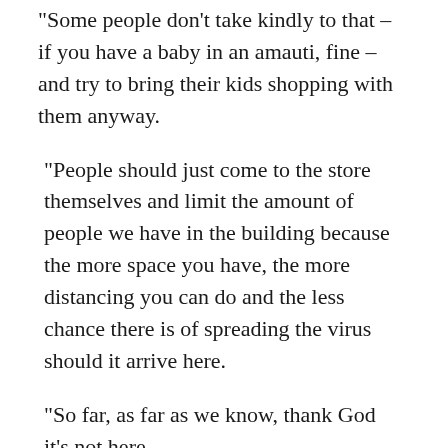“Some people don’t take kindly to that – if you have a baby in an amauti, fine – and try to bring their kids shopping with them anyway.
“People should just come to the store themselves and limit the amount of people we have in the building because the more space you have, the more distancing you can do and the less chance there is of spreading the virus should it arrive here.
“So far, as far as we know, thank God it’s not here.
“God forbid but, if that virus does make it here, with our small communities and the overcrowding we have